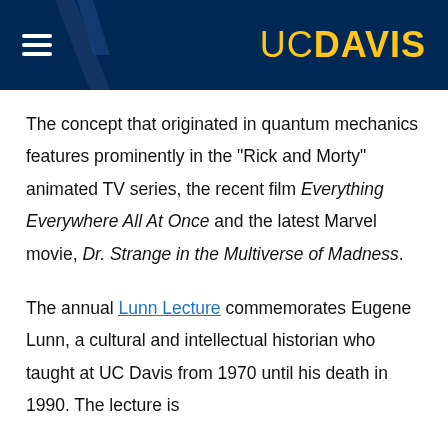UC DAVIS
The concept that originated in quantum mechanics features prominently in the "Rick and Morty" animated TV series, the recent film Everything Everywhere All At Once and the latest Marvel movie, Dr. Strange in the Multiverse of Madness.
The annual Lunn Lecture commemorates Eugene Lunn, a cultural and intellectual historian who taught at UC Davis from 1970 until his death in 1990. The lecture is